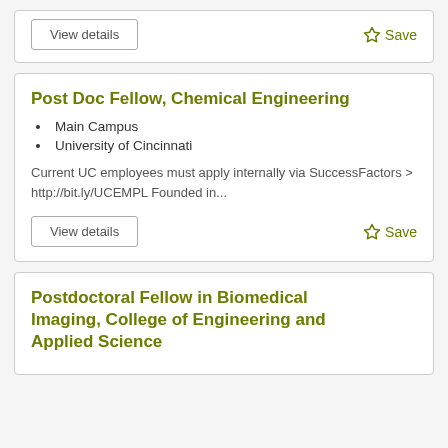View details
Save
Post Doc Fellow, Chemical Engineering
Main Campus
University of Cincinnati
Current UC employees must apply internally via SuccessFactors > http://bit.ly/UCEMPL Founded in...
View details
Save
Postdoctoral Fellow in Biomedical Imaging, College of Engineering and Applied Science